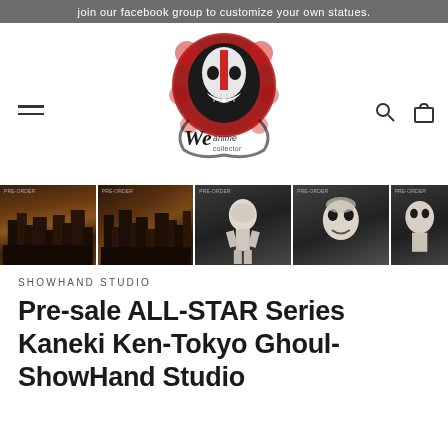join our facebook group to customize your own statues.
[Figure (logo): We Anime Collector logo with stylized masked demon face in red and black ink, with cursive text 'We anime collector' below]
[Figure (photo): Row of 5 product thumbnail images: first two show a city/town scene in dark warm tones, last three show a white-haired anime figure (Kaneki Ken) on dark backgrounds]
SHOWHAND STUDIO
Pre-sale  ALL-STAR Series Kaneki Ken-Tokyo Ghoul-ShowHand Studio